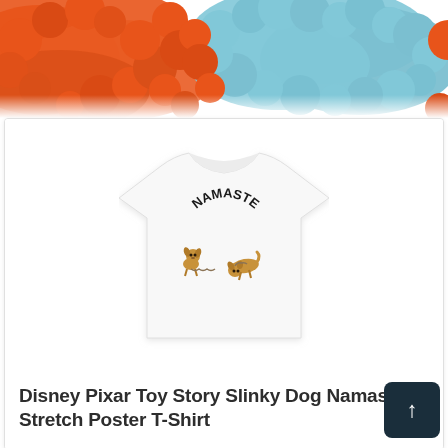[Figure (photo): Partial top view of colorful orange and light blue fluffy/fuzzy textured material, cropped at the bottom of the frame.]
[Figure (photo): White t-shirt with 'NAMASTE' text arched above two cartoon Slinky Dog characters in yoga pose, displayed on a white background inside a product card.]
Disney Pixar Toy Story Slinky Dog Namaste Stretch Poster T-Shirt